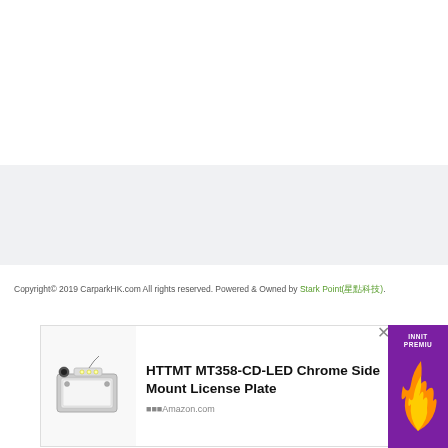[Figure (other): White blank area at top of page]
[Figure (other): Light gray banner/advertisement area]
Copyright© 2019 CarparkHK.com All rights reserved. Powered & Owned by Stark Point(星點科技).
[Figure (photo): Amazon product advertisement: HTTMT MT358-CD-LED Chrome Side Mount License Plate. Shows a chrome license plate bracket with LED light. Amazon.com logo visible. A purple advertisement panel is partially visible on the right showing 'INNIT PREMIU' text and an orange flame/bird graphic.]